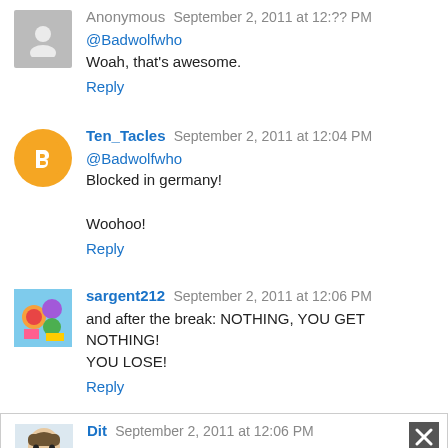Anonymous · September 2, 2011 at 12:?? PM
@Badwolfwho
Woah, that's awesome.
Reply
Ten_Tacles · September 2, 2011 at 12:04 PM
@Badwolfwho
Blocked in germany!
Woohoo!
Reply
sargent212 · September 2, 2011 at 12:06 PM
and after the break: NOTHING, YOU GET NOTHING! YOU LOSE!
Reply
Dit · September 2, 2011 at 12:06 PM
@Badwolfwho Thanks for saving the day! ^^
Reply